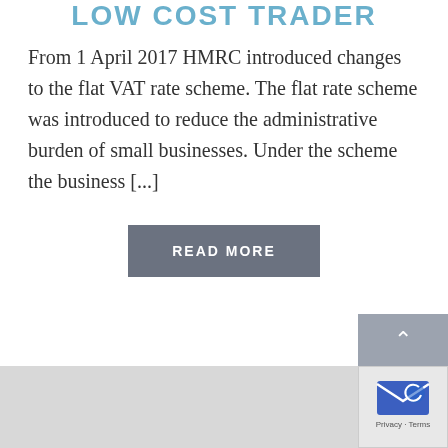LOW COST TRADER
From 1 April 2017 HMRC introduced changes to the flat VAT rate scheme. The flat rate scheme was introduced to reduce the administrative burden of small businesses. Under the scheme the business [...]
READ MORE
[Figure (other): Map area background (grey)]
[Figure (other): reCAPTCHA badge with envelope icon and Privacy/Terms links]